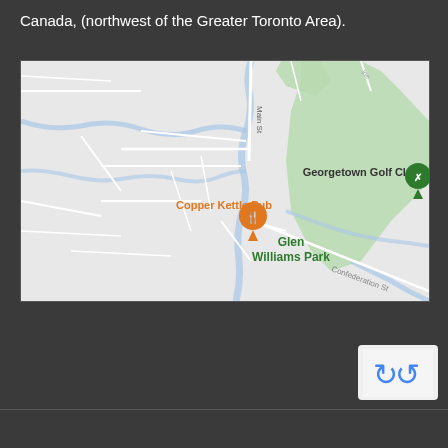Canada, (northwest of the Greater Toronto Area).
[Figure (map): Google Maps screenshot showing Glen Williams area near Georgetown, Ontario, Canada. Shows Copper Kettle Pub with orange location pin, Glen Williams Park label in green, Georgetown Golf Club with green marker, roads including Main St and Confederation St, and a river/creek running through the area.]
[Figure (screenshot): reCAPTCHA widget partially visible in bottom right corner showing blue recycling arrows logo on white/grey background.]